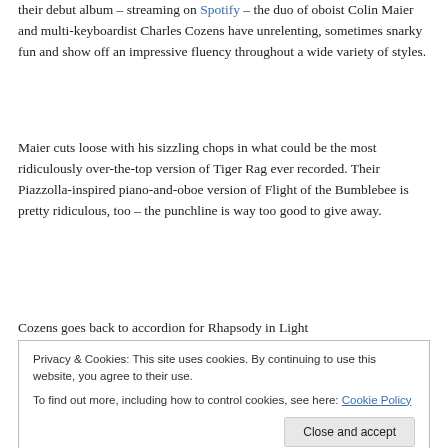their debut album – streaming on Spotify – the duo of oboist Colin Maier and multi-keyboardist Charles Cozens have unrelenting, sometimes snarky fun and show off an impressive fluency throughout a wide variety of styles.
Maier cuts loose with his sizzling chops in what could be the most ridiculously over-the-top version of Tiger Rag ever recorded. Their Piazzolla-inspired piano-and-oboe version of Flight of the Bumblebee is pretty ridiculous, too – the punchline is way too good to give away.
Cozens goes back to accordion for Rhapsody in Light
Privacy & Cookies: This site uses cookies. By continuing to use this website, you agree to their use.
To find out more, including how to control cookies, see here: Cookie Policy